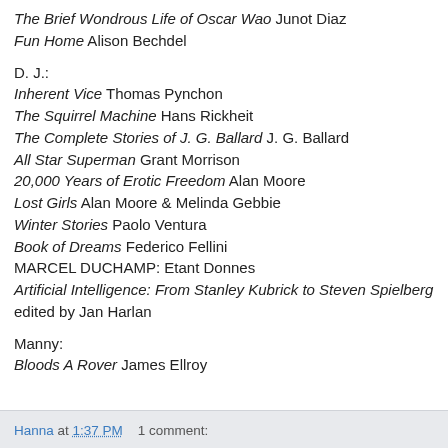The Brief Wondrous Life of Oscar Wao Junot Diaz
Fun Home Alison Bechdel
D. J.:
Inherent Vice Thomas Pynchon
The Squirrel Machine Hans Rickheit
The Complete Stories of J. G. Ballard J. G. Ballard
All Star Superman Grant Morrison
20,000 Years of Erotic Freedom Alan Moore
Lost Girls Alan Moore & Melinda Gebbie
Winter Stories Paolo Ventura
Book of Dreams Federico Fellini
MARCEL DUCHAMP: Etant Donnes
Artificial Intelligence: From Stanley Kubrick to Steven Spielberg edited by Jan Harlan
Manny:
Bloods A Rover James Ellroy
Hanna at 1:37 PM   1 comment: